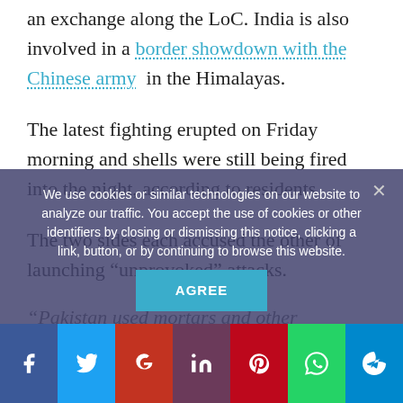an exchange along the LoC. India is also involved in a border showdown with the Chinese army in the Himalayas.
The latest fighting erupted on Friday morning and shells were still being fired into the night, according to residents.
The two sides each accused the other of launching “unprovoked” attacks.
“Pakistan used mortars and other weapons” and “deliberately targeted civilian areas,” said an Indian army statement.
Three Indian soldiers ... and three wounded in
We use cookies or similar technologies on our website to analyze our traffic. You accept the use of cookies or other identifiers by closing or dismissing this notice, clicking a link, button, or by continuing to browse this website.
AGREE